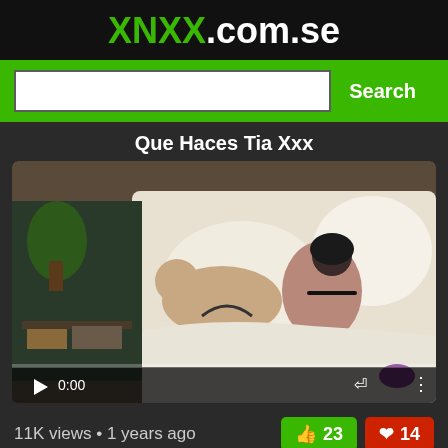XNXX.com.se
[Figure (screenshot): Search bar with green Search button on green background]
Que Haces Tia Xxx
[Figure (screenshot): Video thumbnail showing two people on a bed with video player controls overlay showing 0:00 timestamp]
11K views • 1 years ago
👍 23   ❤️ 14